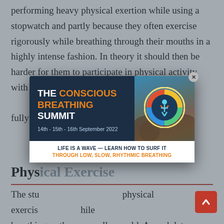performing heavy physical exertion while using a stopwatch and partly because they often exercise rigorously while breathing through their mouths in a highly intense fashion. In theory it should then be harder for them to participate in physical activity with their mouths [closed — fully tested.]
[Figure (infographic): Popup advertisement for 'The Conscious Breathing Summit' dated 14th-15th-16th September 2022, with tagline 'LIFE IS A WAVE — LEARN HOW TO SURF IT THROUGH LOW, SLOW, RHYTHMIC BREATHING'. Features a circular logo with a human figure and colorful segments, set against a coastal rock/ocean photo background.]
Phys[ical Exercise]
The stu[dy had participants complete a first] physical exercis[e test] [while] breathing as they normally would. A week later, a second physical exercise test was administered, this time with participants' mouths taped closed with Leukosilk ta[pe] that only nasal breathing could occur.